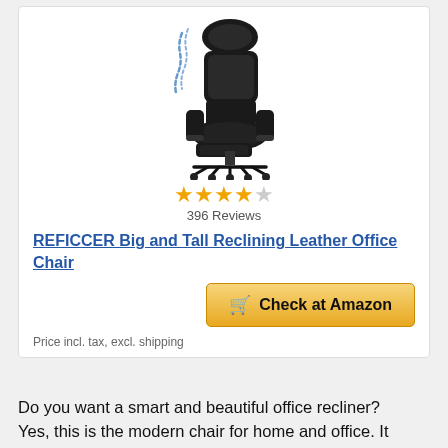[Figure (photo): Black leather reclining office chair with footrest extended, shown with motion lines indicating reclining feature]
396 Reviews
REFICCER Big and Tall Reclining Leather Office Chair
Check at Amazon
Price incl. tax, excl. shipping
Do you want a smart and beautiful office recliner? Yes, this is the modern chair for home and office. It